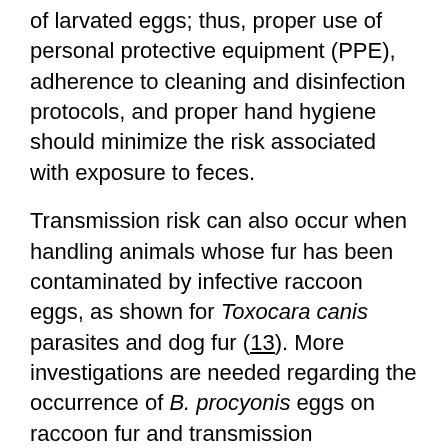of larvated eggs; thus, proper use of personal protective equipment (PPE), adherence to cleaning and disinfection protocols, and proper hand hygiene should minimize the risk associated with exposure to feces.
Transmission risk can also occur when handling animals whose fur has been contaminated by infective raccoon eggs, as shown for Toxocara canis parasites and dog fur (13). More investigations are needed regarding the occurrence of B. procyonis eggs on raccoon fur and transmission implications. Lapses in PPE use and hand hygiene may indicate a lack of caution or risk awareness for other pathogens.
Wildlife rehabilitators in areas with a very high prevalence of B. procyonis infection among raccoons may be at elevated risk for subclinical infections. Only 1. B. procyonis seropositivity wildlife rehabilitators